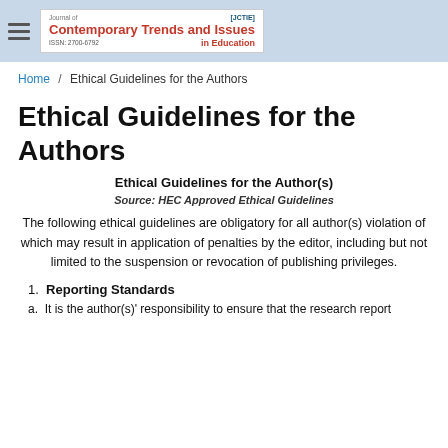Journal of Contemporary Trends and Issues in Education [JCTIE] ISSN: 2700-6792
Home / Ethical Guidelines for the Authors
Ethical Guidelines for the Authors
Ethical Guidelines for the Author(s)
Source: HEC Approved Ethical Guidelines
The following ethical guidelines are obligatory for all author(s) violation of which may result in application of penalties by the editor, including but not limited to the suspension or revocation of publishing privileges.
1. Reporting Standards
a. It is the author(s)' responsibility to ensure that the research report